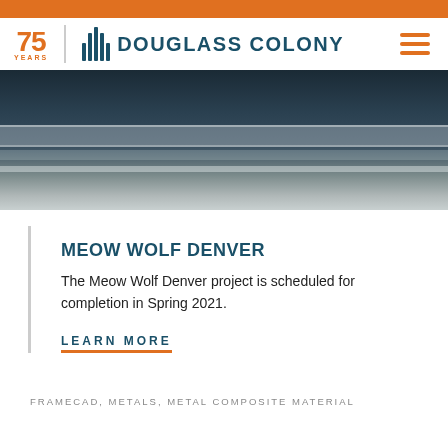[Figure (logo): Douglass Colony 75 Years logo with stylized bar chart icon and company name]
[Figure (photo): Construction photo of Meow Wolf Denver project showing curved metal roofing/structure with dark building elements against light sky]
MEOW WOLF DENVER
The Meow Wolf Denver project is scheduled for completion in Spring 2021.
LEARN MORE
FRAMECAD, METALS, METAL COMPOSITE MATERIAL